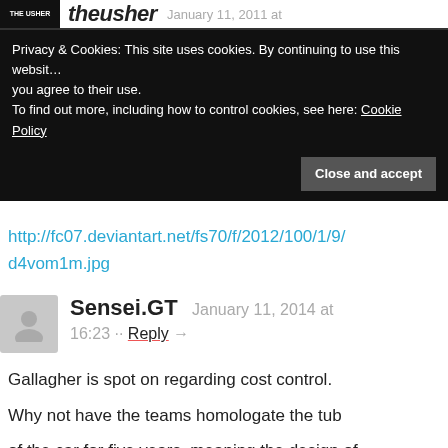theusher.fs January 11, 2014 at
Privacy & Cookies: This site uses cookies. By continuing to use this website, you agree to their use.
To find out more, including how to control cookies, see here: Cookie Policy
Close and accept
http://fc07.deviantart.net/fs70/f/2012/100/1/9/d4vom1m.jpg
Sensei.GT January 11, 2014 at 16:23 ·· Reply →
Gallagher is spot on regarding cost control.
Why not have the teams homologate the tub of the car for five years, meaning the design of